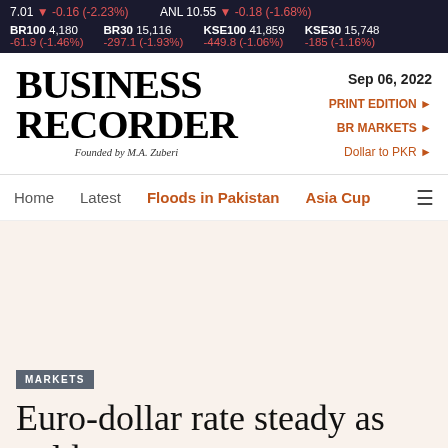7.01 ▼ -0.16 (-2.23%)   ANL 10.55 ▼ -0.18 (-1.68%)   BR100 4,180 -61.9 (-1.46%)   BR30 15,116 -297.1 (-1.93%)   KSE100 41,859 -449.8 (-1.06%)   KSE30 15,748 -185 (-1.16%)
BUSINESS RECORDER
Founded by M.A. Zuberi
Sep 06, 2022
PRINT EDITION ►
BR MARKETS ►
Dollar to PKR ►
Home   Latest   Floods in Pakistan   Asia Cup
MARKETS
Euro-dollar rate steady as gold soars